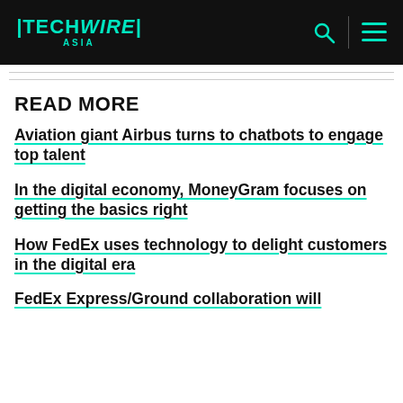TECHWIRE ASIA
READ MORE
Aviation giant Airbus turns to chatbots to engage top talent
In the digital economy, MoneyGram focuses on getting the basics right
How FedEx uses technology to delight customers in the digital era
FedEx Express/Ground collaboration will